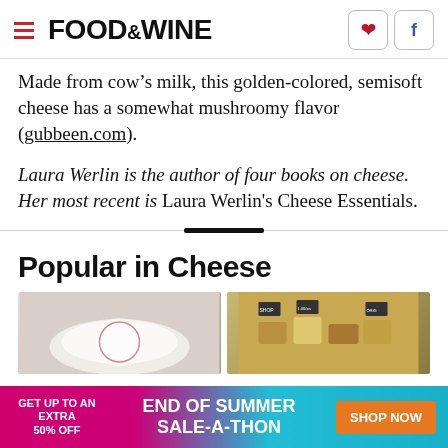FOOD&WINE
Made from cow’s milk, this golden-colored, semisoft cheese has a somewhat mushroomy flavor (gubbeen.com).
Laura Werlin is the author of four books on cheese. Her most recent is Laura Werlin’s Cheese Essentials.
Popular in Cheese
[Figure (photo): Two food photos side by side: left shows a white creamy cheese in a round container, right shows various cheese pieces with labels at a market]
[Figure (infographic): Advertisement banner: GET UP TO AN EXTRA 50% OFF END OF SUMMER SALE-A-THON SHOP NOW]